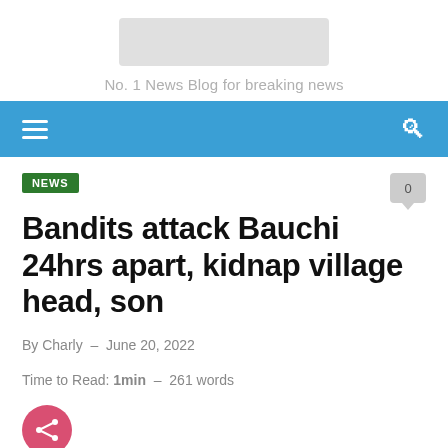[Figure (logo): Site logo placeholder (gray rectangle)]
No. 1 News Blog for breaking news
Navigation bar with hamburger menu and search icon
NEWS
Bandits attack Bauchi 24hrs apart, kidnap village head, son
By Charly  –  June 20, 2022
Time to Read: 1min  –  261 words